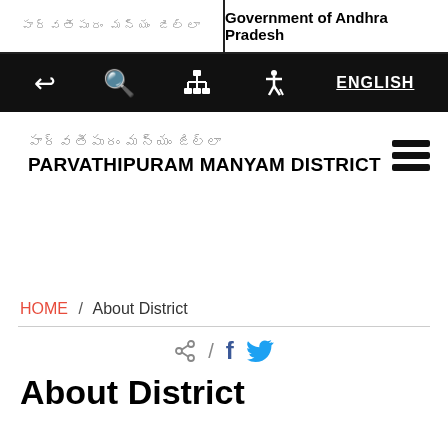పార్వతీపురం మన్యం జిల్లా | Government of Andhra Pradesh
[Figure (screenshot): Navigation bar with icons: back, search, sitemap, accessibility, and ENGLISH language link on dark background]
పార్వతీపురం మన్యం జిల్లా
PARVATHIPURAM MANYAM DISTRICT
HOME / About District
[Figure (infographic): Share icons: share, forward-slash, Facebook f icon, Twitter bird icon]
About District